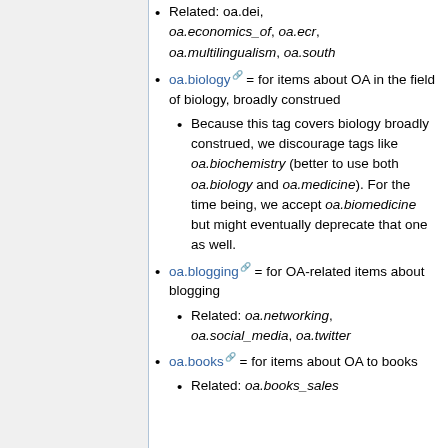Related: oa.dei, oa.economics_of, oa.ecr, oa.multilingualism, oa.south
oa.biology = for items about OA in the field of biology, broadly construed
Because this tag covers biology broadly construed, we discourage tags like oa.biochemistry (better to use both oa.biology and oa.medicine). For the time being, we accept oa.biomedicine but might eventually deprecate that one as well.
oa.blogging = for OA-related items about blogging
Related: oa.networking, oa.social_media, oa.twitter
oa.books = for items about OA to books
Related: oa.books_sales